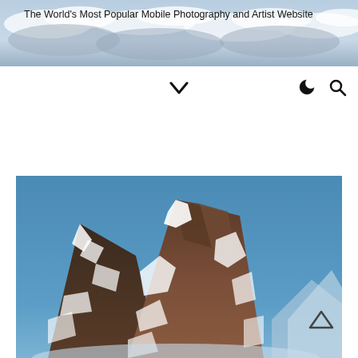The World's Most Popular Mobile Photography and Artist Website
[Figure (photo): Sky with clouds - website header banner image]
[Figure (screenshot): Navigation bar with chevron down icon, moon/dark mode icon, and search icon]
[Figure (photo): Snow-capped rocky mountain peak against a blue sky, large format photography display]